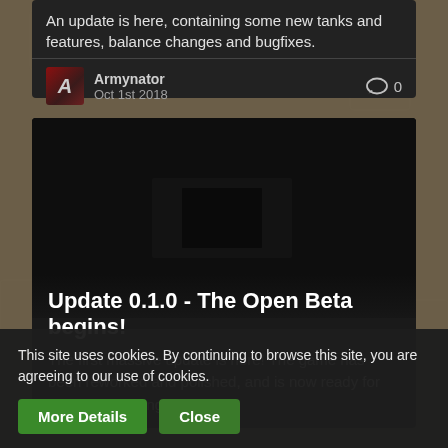An update is here, containing some new tanks and features, balance changes and bugfixes.
Armynator
Oct 1st 2018
💬 0
[Figure (screenshot): Dark game screenshot area used as banner image for update post]
Update 0.1.0 - The Open Beta begins!
The first massive update is here! The game has been reworked and polished, and is now ready for open beta testing!
This site uses cookies. By continuing to browse this site, you are agreeing to our use of cookies.
More Details   Close